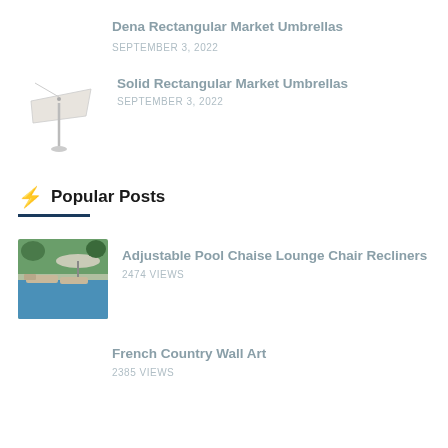Dena Rectangular Market Umbrellas
SEPTEMBER 3, 2022
[Figure (illustration): Rectangular market umbrella product image, white/cream colored, tilted pole]
Solid Rectangular Market Umbrellas
SEPTEMBER 3, 2022
Popular Posts
[Figure (photo): Outdoor pool with chaise lounge chairs and a large patio umbrella surrounded by trees]
Adjustable Pool Chaise Lounge Chair Recliners
2474 VIEWS
French Country Wall Art
2385 VIEWS